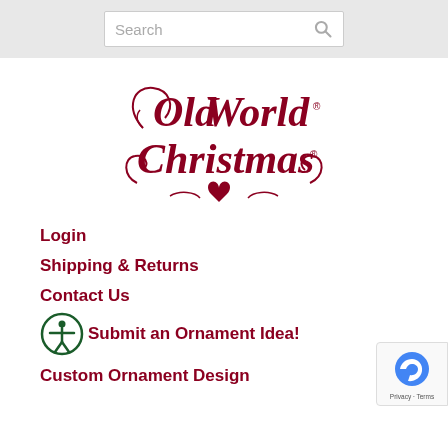Search
[Figure (logo): Old World Christmas logo — ornate red script lettering with a heart]
Login
Shipping & Returns
Contact Us
Submit an Ornament Idea!
Custom Ornament Design